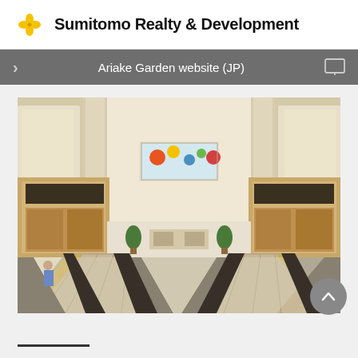Sumitomo Realty & Development
Ariake Garden website (JP)
[Figure (photo): Interior of Ariake Garden shopping mall showing a wide atrium with escalators in the foreground, multi-level retail stores on both sides, potted plants, and colorful artwork visible at the far end under bright ceiling lights.]